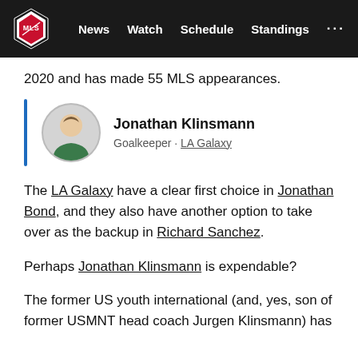MLS | News  Watch  Schedule  Standings  ...
2020 and has made 55 MLS appearances.
[Figure (other): Player profile card for Jonathan Klinsmann with circular headshot, blue vertical bar accent, name and position/team label. Name: Jonathan Klinsmann, Position: Goalkeeper · LA Galaxy]
The LA Galaxy have a clear first choice in Jonathan Bond, and they also have another option to take over as the backup in Richard Sanchez.
Perhaps Jonathan Klinsmann is expendable?
The former US youth international (and, yes, son of former USMNT head coach Jurgen Klinsmann) has